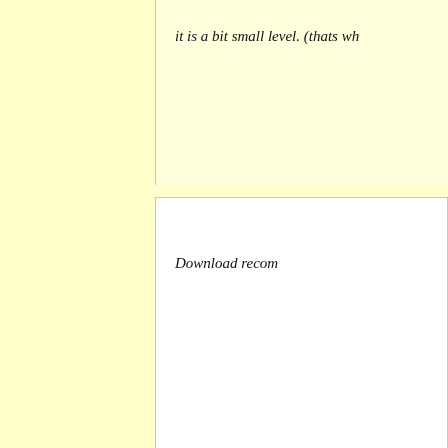it is a bit small level. (thats wh
Download recom
Featured
[Figure (screenshot): A dark video game screenshot showing pixel art with a 'KILL this rabbit' label/sticker in the upper portion, purple diamond shapes in the middle, and green bar graphics at the bottom right.]